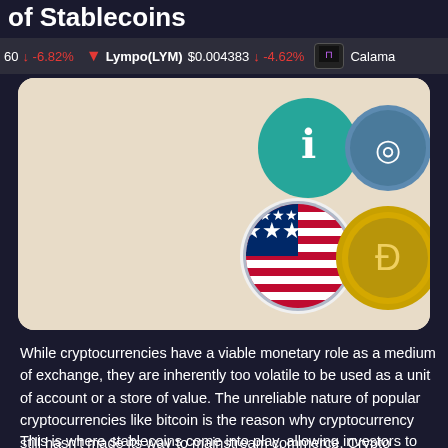of Stablecoins
60 ↓ -6.82%   Lympo(LYM) $0.004383 ↓ -4.62%   Calama
[Figure (illustration): Stablecoin logos illustration on beige background showing US flag with crypto coin icons including green, blue, and gold colored coins]
While cryptocurrencies have a viable monetary role as a medium of exchange, they are inherently too volatile to be used as a unit of account or a store of value. The unreliable nature of popular cryptocurrencies like bitcoin is the reason why cryptocurrency still hasn't made its way to mainstream commerce. Crypto investors can become millionaires overnight and lose all their money weeks later.
This is where stablecoins come into play, allowing investors to enjoy the benefits of a cryptocurrency without the associated